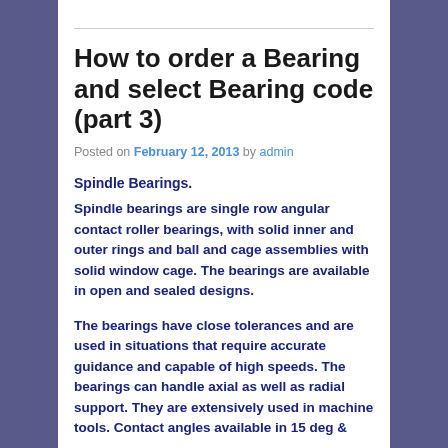How to order a Bearing and select Bearing code (part 3)
Posted on February 12, 2013 by admin
Spindle Bearings.
Spindle bearings are single row angular contact roller bearings, with solid inner and outer rings and ball and cage assemblies with solid window cage. The bearings are available in open and sealed designs.
The bearings have close tolerances and are used in situations that require accurate guidance and capable of high speeds. The bearings can handle axial as well as radial support. They are extensively used in machine tools. Contact angles available in 15 deg &